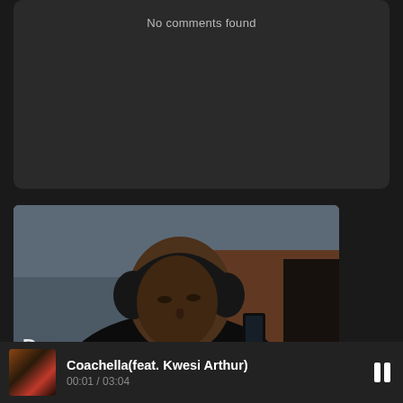No comments found
[Figure (photo): A young man wearing black over-ear headphones and a black hoodie, looking down at a smartphone. Background shows brick and wooden structures with an overcast sky.]
Coachella(feat. Kwesi Arthur)
00:01 / 03:04